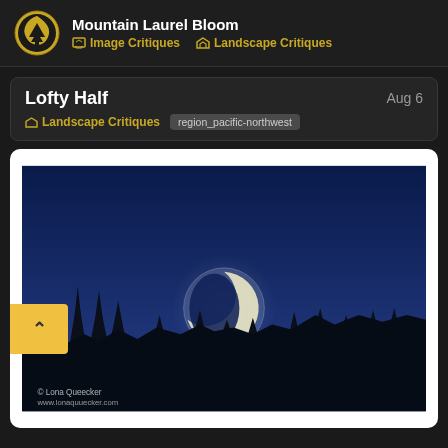Mountain Laurel Bloom — Image Critiques, Landscape Critiques
Lofty Half
Aug 6
Landscape Critiques  region_pacific-northwest
[Figure (photo): Night photograph of a crescent moon rising above a silhouetted treeline of evergreen trees against a deep blue twilight sky. The moon's crescent is bright and a ghostly full-moon circle is visible. Trees are dark silhouettes. Copyright text reads: © Lona Queecker, www.lonaquuecker.com]